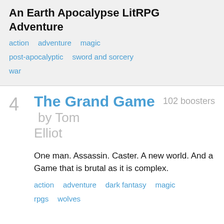An Earth Apocalypse LitRPG Adventure
action
adventure
magic
post-apocalyptic
sword and sorcery
war
4  The Grand Game by Tom Elliot  102 boosters
One man. Assassin. Caster. A new world. And a Game that is brutal as it is complex.
action
adventure
dark fantasy
magic
rpgs
wolves